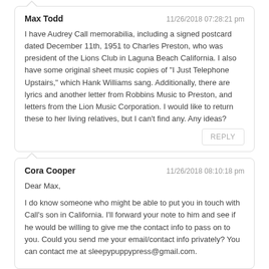Max Todd — 11/26/2018 07:28:21 pm
I have Audrey Call memorabilia, including a signed postcard dated December 11th, 1951 to Charles Preston, who was president of the Lions Club in Laguna Beach California. I also have some original sheet music copies of "I Just Telephone Upstairs," which Hank Williams sang. Additionally, there are lyrics and another letter from Robbins Music to Preston, and letters from the Lion Music Corporation. I would like to return these to her living relatives, but I can't find any. Any ideas?
Cora Cooper — 11/26/2018 08:10:18 pm
Dear Max,
I do know someone who might be able to put you in touch with Call's son in California. I'll forward your note to him and see if he would be willing to give me the contact info to pass on to you. Could you send me your email/contact info privately? You can contact me at sleepypuppypress@gmail.com.